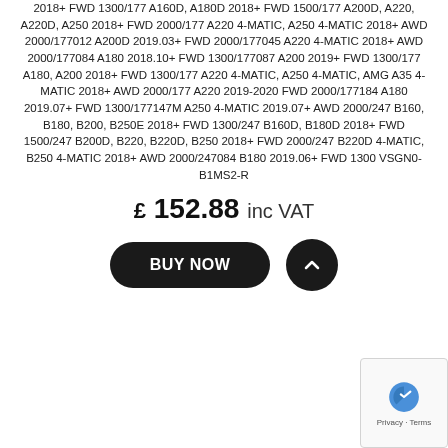2018+ FWD 1300/177 A160D, A180D 2018+ FWD 1500/177 A200D, A220, A220D, A250 2018+ FWD 2000/177 A220 4-MATIC, A250 4-MATIC 2018+ AWD 2000/177012 A200D 2019.03+ FWD 2000/177045 A220 4-MATIC 2018+ AWD 2000/177084 A180 2018.10+ FWD 1300/177087 A200 2019+ FWD 1300/177 A180, A200 2018+ FWD 1300/177 A220 4-MATIC, A250 4-MATIC, AMG A35 4-MATIC 2018+ AWD 2000/177 A220 2019-2020 FWD 2000/177184 A180 2019.07+ FWD 1300/177147M A250 4-MATIC 2019.07+ AWD 2000/247 B160, B180, B200, B250E 2018+ FWD 1300/247 B160D, B180D 2018+ FWD 1500/247 B200D, B220, B220D, B250 2018+ FWD 2000/247 B220D 4-MATIC, B250 4-MATIC 2018+ AWD 2000/247084 B180 2019.06+ FWD 1300 VSGN0-B1MS2-R
£ 152.88 inc VAT
BUY NOW